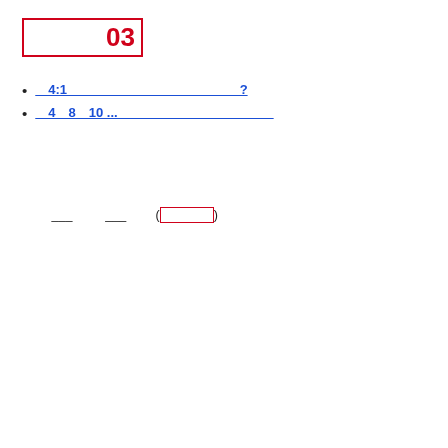第03章
第4:1 如何成为一名优秀的英语学习者?
第4第8第10 ...如何提高英语写作能力
英语学习过程中，写作是一项非常重要的技能。很多学生觉得写作很难，但只要掌握正确的方法，就能够提高自己的写作水平。
首先，要多读英文原版书籍和文章，积累词汇量和表达方式。
其次，要坚持每天写作练习，可以从日记开始，逐步提升到短文和论文。
本书由___作者___出版（红色字）并在全国范围内广泛使用。
另外，学生应当注重语法学习，因为语法是写作的基础。
通过系统的语法学习和大量的写作练习，学生的英语写作能力将会得到显著提升。
教师也可以通过批改作文和提供反馈来帮助学生改善写作能力。
最终，坚持不懈的努力和科学的方法将帮助学生在英语写作方面取得成功。
总结
版权所有